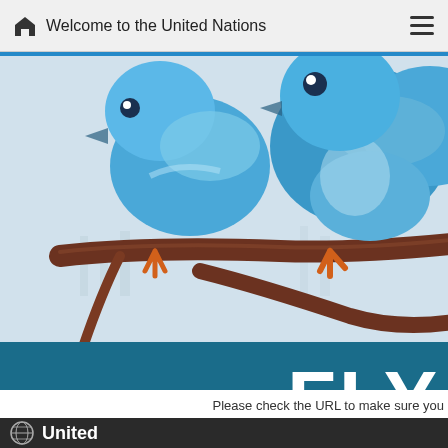Welcome to the United Nations
[Figure (illustration): Two blue cartoon birds (Twitter-style) sitting on a brown branch against a light blue textured background. The birds have orange feet and are partially cropped at right edge.]
FLY
Please check the URL to make sure you
United